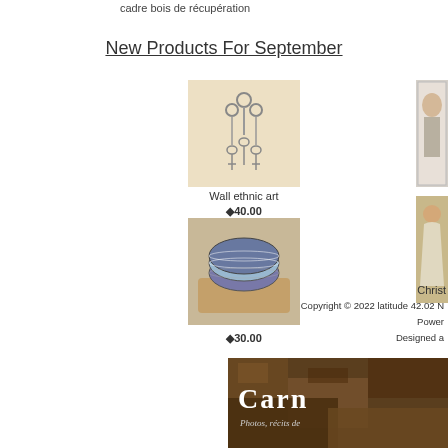cadre bois de récupération
New Products For September
[Figure (photo): Wall ethnic art product photo showing hanging metal rings and keys]
Wall ethnic art
€40.00
[Figure (photo): Bracelet/wristband product photo showing colorful striped bracelets on a wooden surface]
€30.00
[Figure (photo): Partial image of a person in light clothing on the right side of the page]
Christ
Copyright © 2022 latitude 42.02 N
Power
Designed a
[Figure (photo): Bottom banner image with dark brown/stone texture background showing 'Carn' text and 'Photos, récits de']